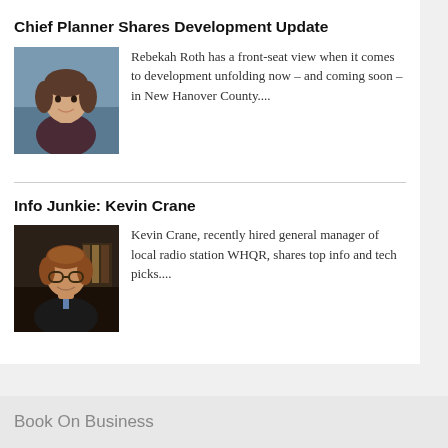Chief Planner Shares Development Update
[Figure (photo): Headshot photo of Rebekah Roth, a woman with short brown hair wearing a dark sleeveless top, smiling, against a blue-grey background.]
Rebekah Roth has a front-seat view when it comes to development unfolding now – and coming soon – in New Hanover County....
Info Junkie: Kevin Crane
[Figure (photo): Headshot photo of Kevin Crane, a young man with red hair wearing a dark suit and tie, smiling, against a dark background with bookshelves.]
Kevin Crane, recently hired general manager of local radio station WHQR, shares top info and tech picks....
Book On Business